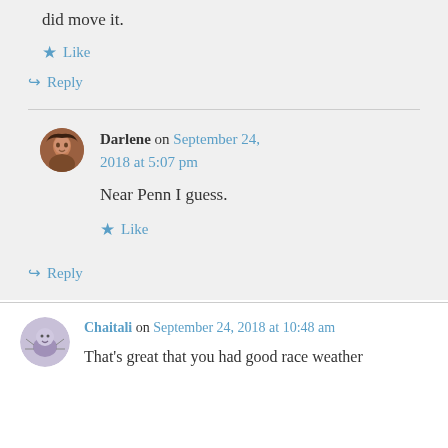did move it.
★ Like
↪ Reply
Darlene on September 24, 2018 at 5:07 pm
Near Penn I guess.
★ Like
↪ Reply
Chaitali on September 24, 2018 at 10:48 am
That's great that you had good race weather